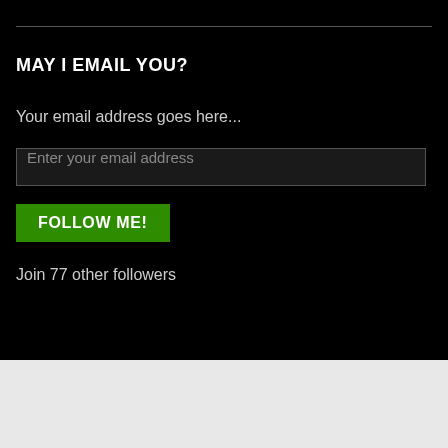MAY I EMAIL YOU?
Your email address goes here...
[Figure (screenshot): Email input field with placeholder text 'Enter your email address']
[Figure (screenshot): Green button labeled 'FOLLOW ME!']
Join 77 other followers
Advertisements
Getting your team on the same page is easy. And free.